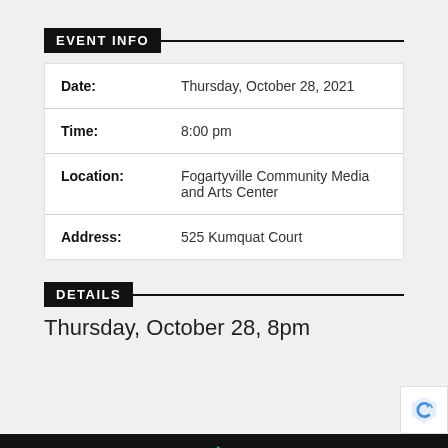EVENT INFO
| Field | Value |
| --- | --- |
| Date: | Thursday, October 28, 2021 |
| Time: | 8:00 pm |
| Location: | Fogartyville Community Media and Arts Center |
| Address: | 525 Kumquat Court |
DETAILS
Thursday, October 28, 8pm